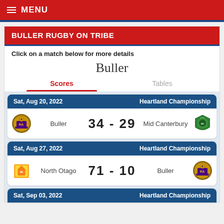≡ MENU
BULLER RUGBY ON TRIBE
Click on a match below for more details
Buller
Scores   Tables
| Date | Competition | Home Team | Score | Away Team |
| --- | --- | --- | --- | --- |
| Sat, Aug 20, 2022 | Heartland Championship | Buller | 34 - 29 | Mid Canterbury |
| Sat, Aug 27, 2022 | Heartland Championship | North Otago | 71 - 10 | Buller |
| Sat, Sep 03, 2022 | Heartland Championship |  |  |  |